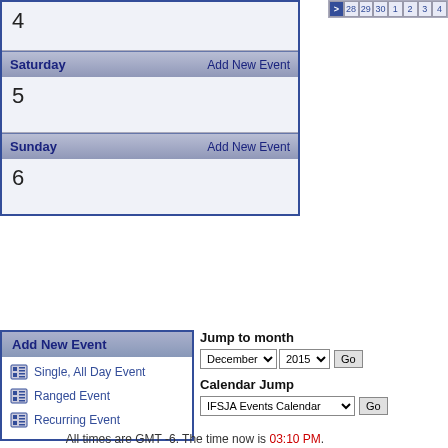| 4 |  |
| Saturday | Add New Event |
| 5 |  |
| Sunday | Add New Event |
| 6 |  |
Add New Event
Single, All Day Event
Ranged Event
Recurring Event
Jump to month
Calendar Jump
All times are GMT -6. The time now is 03:10 PM.
---- IFSJA 2.5 (Variable Width)
Contact Us - International Full Size Jeep Association - Archive - Top
Powered by vBulletin Version 3.5.4
Copyright ©2000 - 2022, Jelsoft Enterprises Ltd.
IFSJA.org hosting provided by Golden Computer Service. © 2000-2006 IFSJA Site Staff.  Jeep® is a registerd trademark of DaimlerChrysler.